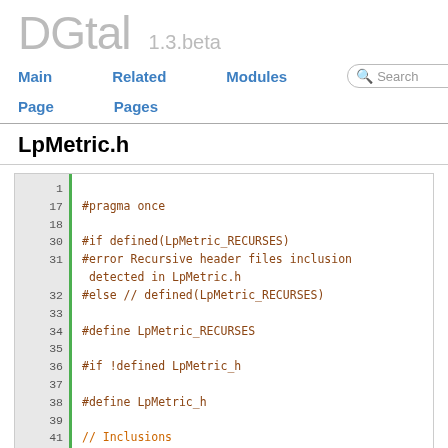DGtal 1.3.beta
Main   Related   Modules   Search
Page   Pages
LpMetric.h
1
17
18
30
31
32
33
34
35
36
37
38
39
41
42
43
44
45
#pragma once

#if defined(LpMetric_RECURSES)
#error Recursive header files inclusion detected in LpMetric.h
#else // defined(LpMetric_RECURSES)

#define LpMetric_RECURSES

#if !defined LpMetric_h

#define LpMetric_h

// Inclusions
#include <iostream>
#include <cmath>
#include "DGtal/base/Common.h"
#include "DGtal/kernel/CSpace.h"